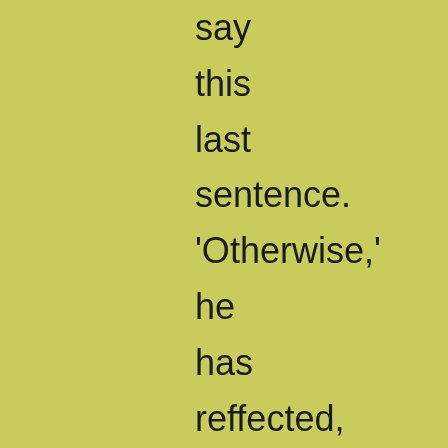say this last sentence. 'Otherwise,' he has reffected, 'I shall assume the superior position of having no difficulties of my own,